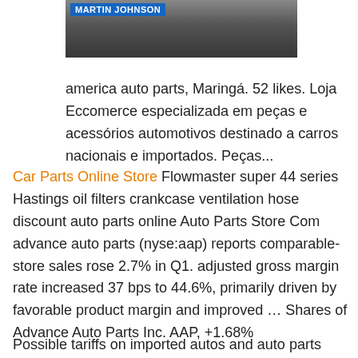[Figure (photo): Partial photo of a person with 'MARTIN JOHNSON' text label in blue banner]
america auto parts, Maringá. 52 likes. Loja Eccomerce especializada em peças e acessórios automotivos destinado a carros nacionais e importados. Peças...
Car Parts Online Store Flowmaster super 44 series Hastings oil filters crankcase ventilation hose discount auto parts online Auto Parts Store Com advance auto parts (nyse:aap) reports comparable-store sales rose 2.7% in Q1. adjusted gross margin rate increased 37 bps to 44.6%, primarily driven by favorable product margin and improved ... Shares of Advance Auto Parts Inc. AAP, +1.68%
Possible tariffs on imported autos and auto parts remain on the front burner this year for global ... and